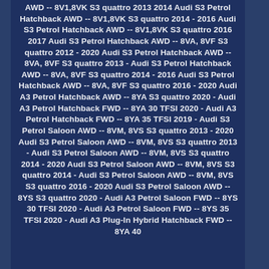AWD -- 8V1,8VK S3 quattro 2013 2014 Audi S3 Petrol Hatchback AWD -- 8V1,8VK S3 quattro 2014 - 2016 Audi S3 Petrol Hatchback AWD -- 8V1,8VK S3 quattro 2016 2017 Audi S3 Petrol Hatchback AWD -- 8VA, 8VF S3 quattro 2012 - 2020 Audi S3 Petrol Hatchback AWD -- 8VA, 8VF S3 quattro 2013 - Audi S3 Petrol Hatchback AWD -- 8VA, 8VF S3 quattro 2014 - 2016 Audi S3 Petrol Hatchback AWD -- 8VA, 8VF S3 quattro 2016 - 2020 Audi A3 Petrol Hatchback AWD -- 8YA S3 quattro 2020 - Audi A3 Petrol Hatchback FWD -- 8YA 30 TFSI 2020 - Audi A3 Petrol Hatchback FWD -- 8YA 35 TFSI 2019 - Audi S3 Petrol Saloon AWD -- 8VM, 8VS S3 quattro 2013 - 2020 Audi S3 Petrol Saloon AWD -- 8VM, 8VS S3 quattro 2013 - Audi S3 Petrol Saloon AWD -- 8VM, 8VS S3 quattro 2014 - 2020 Audi S3 Petrol Saloon AWD -- 8VM, 8VS S3 quattro 2014 - Audi S3 Petrol Saloon AWD -- 8VM, 8VS S3 quattro 2016 - 2020 Audi S3 Petrol Saloon AWD -- 8YS S3 quattro 2020 - Audi A3 Petrol Saloon FWD -- 8YS 30 TFSI 2020 - Audi A3 Petrol Saloon FWD -- 8YS 35 TFSI 2020 - Audi A3 Plug-In Hybrid Hatchback FWD -- 8YA 40